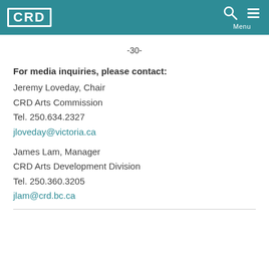CRD
-30-
For media inquiries, please contact:
Jeremy Loveday, Chair
CRD Arts Commission
Tel. 250.634.2327
jloveday@victoria.ca

James Lam, Manager
CRD Arts Development Division
Tel. 250.360.3205
jlam@crd.bc.ca